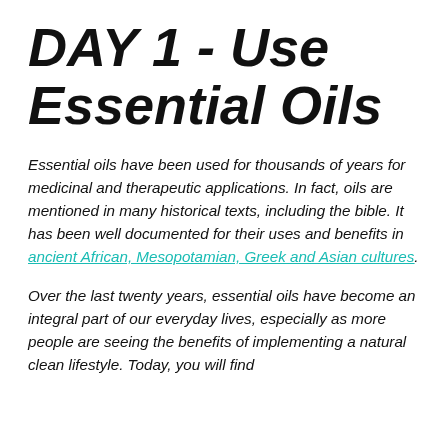DAY 1 - Use Essential Oils
Essential oils have been used for thousands of years for medicinal and therapeutic applications. In fact, oils are mentioned in many historical texts, including the bible. It has been well documented for their uses and benefits in ancient African, Mesopotamian, Greek and Asian cultures.
Over the last twenty years, essential oils have become an integral part of our everyday lives, especially as more people are seeing the benefits of implementing a natural clean lifestyle. Today, you will find